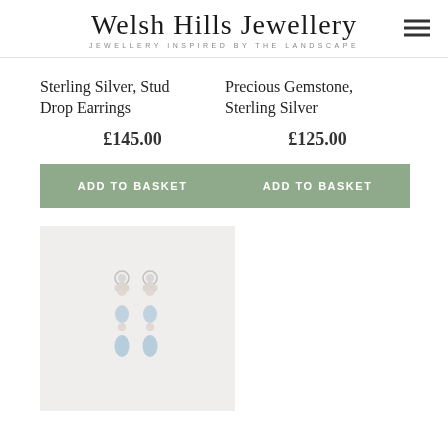Welsh Hills Jewellery — JEWELLERY INSPIRED BY THE LANDSCAPE
Sterling Silver, Stud Drop Earrings
£145.00
ADD TO BASKET
Precious Gemstone, Sterling Silver
£125.00
ADD TO BASKET
[Figure (photo): Photo of sterling silver stud drop earrings with blue gemstone teardrop pendants on a light beige background]